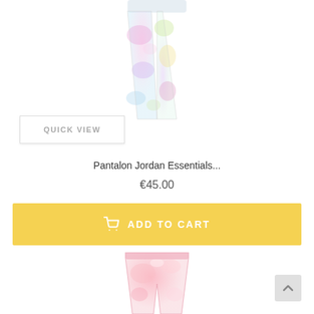[Figure (photo): Tie-dye pastel leggings product photo (top portion visible, cropped at top), multicolor pastel pink, purple, green, yellow tie-dye pattern]
QUICK VIEW
Pantalon Jordan Essentials...
€45.00
ADD TO CART
[Figure (photo): Pink tie-dye shorts/leggings product photo (partial, bottom of page), pink and white tie-dye pattern]